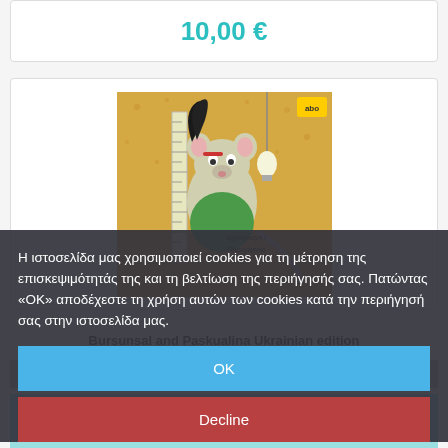10,00 €
[Figure (illustration): Book cover illustration showing a cartoon mouse/rat character holding a ruler, with Ukrainian text 'Бурсунсун і Паскуаліна', yellow/orange background with light bulb hanging]
Η ιστοσελίδα μας χρησιμοποιεί cookies για τη μέτρηση της επισκεψιμότητάς της και τη βελτίωση της περιήγησής σας. Πατώντας «ΟΚ» αποδέχεστε τη χρήση αυτών των cookies κατά την περιήγησή σας στην ιστοσελίδα μας.
OK
Decline
Bursunsal and Paskualina Ukrainian edition
Settings
17,00 €
Διαβάστε περισσότερα